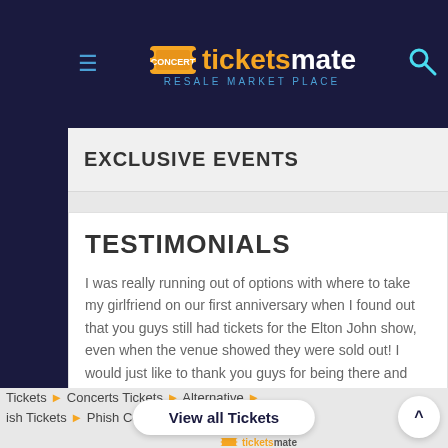[Figure (logo): TicketsMate Resale Market Place logo with ticket icon, hamburger menu icon on left, search icon on right, on dark navy background]
EXCLUSIVE EVENTS
TESTIMONIALS
I was really running out of options with where to take my girlfriend on our first anniversary when I found out that you guys still had tickets for the Elton John show, even when the venue showed they were sold out! I would just like to thank you guys for being there and making this a really special day for us both!
Nelson Davies
(Tampa - Florida)
Tickets ▶ Concerts Tickets ▶ Alternative ▶
ish Tickets ▶ Phish Commerce City CO Tickets
View all Tickets